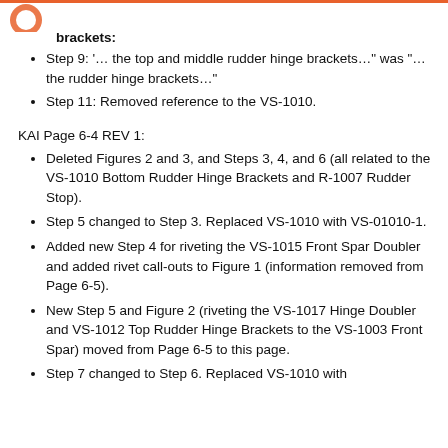Step 9: '… the top and middle rudder hinge brackets…" was "… the rudder hinge brackets…"
Step 11: Removed reference to the VS-1010.
KAI Page 6-4 REV 1:
Deleted Figures 2 and 3, and Steps 3, 4, and 6 (all related to the VS-1010 Bottom Rudder Hinge Brackets and R-1007 Rudder Stop).
Step 5 changed to Step 3. Replaced VS-1010 with VS-01010-1.
Added new Step 4 for riveting the VS-1015 Front Spar Doubler and added rivet call-outs to Figure 1 (information removed from Page 6-5).
New Step 5 and Figure 2 (riveting the VS-1017 Hinge Doubler and VS-1012 Top Rudder Hinge Brackets to the VS-1003 Front Spar) moved from Page 6-5 to this page.
Step 7 changed to Step 6. Replaced VS-1010 with